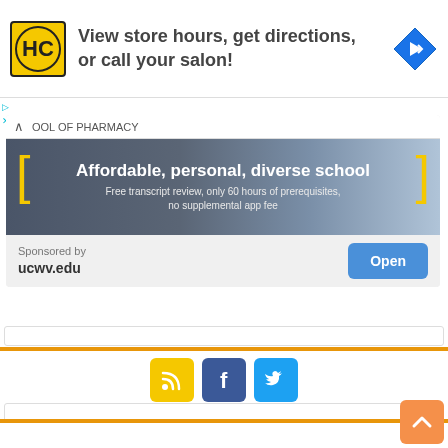[Figure (infographic): Advertisement banner for HC salon with logo, text 'View store hours, get directions, or call your salon!' and a blue diamond navigation icon]
[Figure (infographic): Pharmacy school advertisement: 'Affordable, personal, diverse school. Free transcript review, only 60 hours of prerequisites, no supplemental app fee' with sponsored by ucwv.edu and Open button]
[Figure (infographic): Social media icons: RSS (yellow), Facebook (blue), Twitter (light blue)]
[Figure (infographic): Orange back-to-top button with upward chevron in bottom right corner]